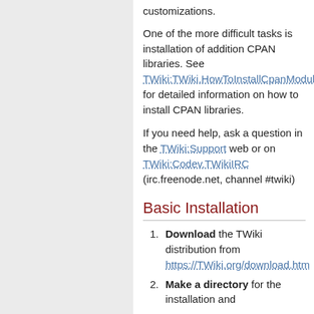customizations.
One of the more difficult tasks is installation of addition CPAN libraries. See TWiki:TWiki.HowToInstallCpanModul for detailed information on how to install CPAN libraries.
If you need help, ask a question in the TWiki:Support web or on TWiki:Codev.TWikiIRC (irc.freenode.net, channel #twiki)
Basic Installation
Download the TWiki distribution from https://TWiki.org/download.htm
Make a directory for the installation and